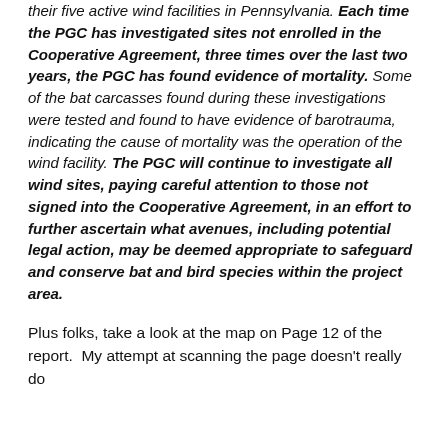their five active wind facilities in Pennsylvania. Each time the PGC has investigated sites not enrolled in the Cooperative Agreement, three times over the last two years, the PGC has found evidence of mortality. Some of the bat carcasses found during these investigations were tested and found to have evidence of barotrauma, indicating the cause of mortality was the operation of the wind facility. The PGC will continue to investigate all wind sites, paying careful attention to those not signed into the Cooperative Agreement, in an effort to further ascertain what avenues, including potential legal action, may be deemed appropriate to safeguard and conserve bat and bird species within the project area.
Plus folks, take a look at the map on Page 12 of the report.  My attempt at scanning the page doesn't really do